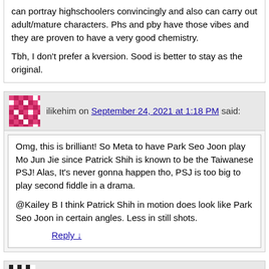can portray highschoolers convincingly and also can carry out adult/mature characters. Phs and pby have those vibes and they are proven to have a very good chemistry.
Tbh, I don't prefer a kversion. Sood is better to stay as the original.
ilikehim on September 24, 2021 at 1:18 PM said:
Omg, this is brilliant! So Meta to have Park Seo Joon play Mo Jun Jie since Patrick Shih is known to be the Taiwanese PSJ! Alas, It's never gonna happen tho, PSJ is too big to play second fiddle in a drama.

@Kailey B I think Patrick Shih in motion does look like Park Seo Joon in certain angles. Less in still shots.
Reply ↓
anon on September 23, 2021 at 5:06 AM said: